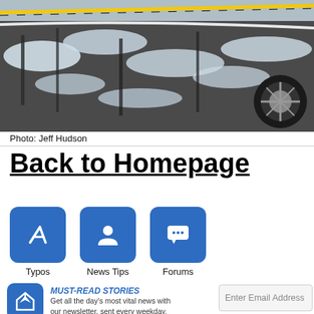[Figure (photo): Car partially buried in snow-covered bushes and branches, with yellow police tape visible in the upper area.]
Photo: Jeff Hudson
Back to Homepage
[Figure (infographic): Three blue icon buttons in a row: pencil/edit icon labeled Typos, person/tips icon labeled News Tips, speech bubble icon labeled Forums.]
[Figure (infographic): Newsletter signup block with blue icon, MUST-READ STORIES heading, description text, and email input field.]